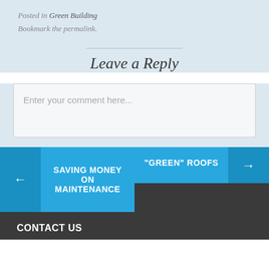Posted in Green Building
Bookmark the permalink.
Leave a Reply
Enter your comment here...
← SAVING MONEY ON MAINTENANCE
"GREEN" ROOFS →
CONTACT US